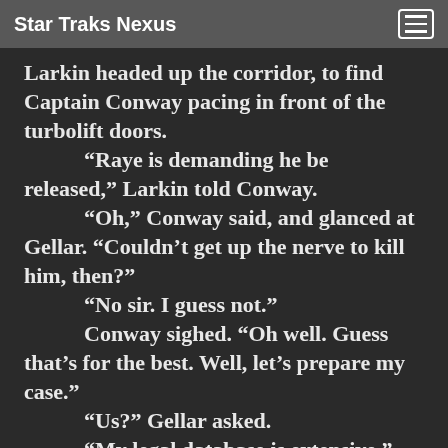Star Traks Nexus
Larkin headed up the corridor, to find Captain Conway pacing in front of the turbolift doors.
“Raye is demanding he be released,” Larkin told Conway.
“Oh,” Conway said, and glanced at Gellar. “Couldn’t get up the nerve to kill him, then?”
“No sir. I guess not.”
Conway sighed. “Oh well. Guess that’s for the best. Well, let’s prepare my case.”
“Us?” Gellar asked.
“My legal database is extensive.”